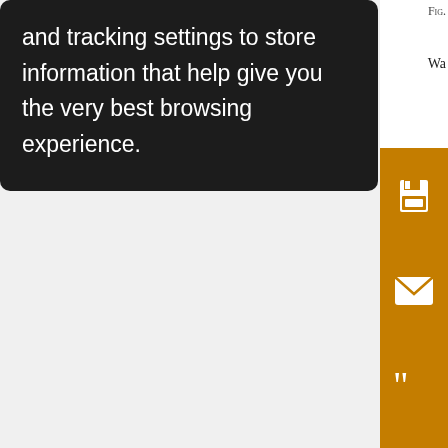and tracking settings to store information that help give you the very best browsing experience.
[Figure (screenshot): Orange sidebar UI with icons: save/floppy disk, email/envelope, quote marks, annotation with strikethrough, and share icons on an orange background bar]
Fig. Wa dom ~25 mic foo the